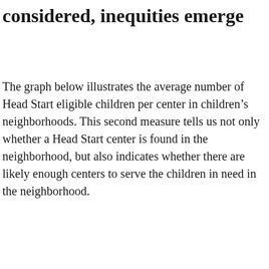considered, inequities emerge
The graph below illustrates the average number of Head Start eligible children per center in children’s neighborhoods. This second measure tells us not only whether a Head Start center is found in the neighborhood, but also indicates whether there are likely enough centers to serve the children in need in the neighborhood.